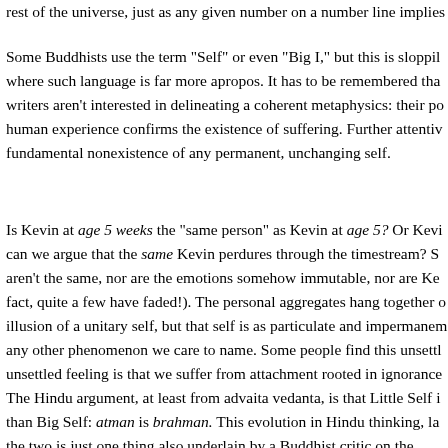rest of the universe, just as any given number on a number line implies
Some Buddhists use the term "Self" or even "Big I," but this is sloppily where such language is far more apropos. It has to be remembered that writers aren't interested in delineating a coherent metaphysics: their po human experience confirms the existence of suffering. Further attenti fundamental nonexistence of any permanent, unchanging self.
Is Kevin at age 5 weeks the "same person" as Kevin at age 5? Or Kevi can we argue that the same Kevin perdures through the timestream? S aren't the same, nor are the emotions somehow immutable, nor are Ke fact, quite a few have faded!). The personal aggregates hang together illusion of a unitary self, but that self is as particulate and impermane any other phenomenon we care to name. Some people find this unsettl unsettled feeling is that we suffer from attachment rooted in ignorance
The Hindu argument, at least from advaita vedanta, is that Little Self i than Big Self: atman is brahman. This evolution in Hindu thinking, la the two is just one thing also underlain by a Buddhist critic on the